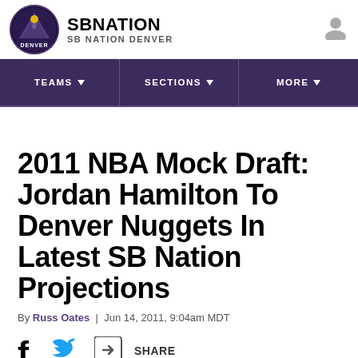SB NATION / SB NATION DENVER
[Figure (logo): SB Nation Denver circular logo with mountain graphic]
2011 NBA Mock Draft: Jordan Hamilton To Denver Nuggets In Latest SB Nation Projections
By Russ Oates | Jun 14, 2011, 9:04am MDT
SHARE